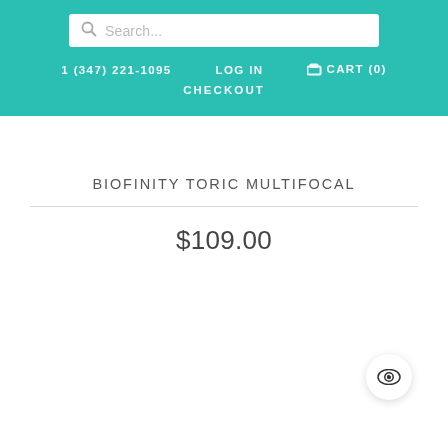Search...
1 (347) 221-1095  LOG IN  CART (0)  CHECKOUT
BIOFINITY TORIC MULTIFOCAL
$109.00
[Figure (illustration): Eye icon button in a circular white button at bottom right]